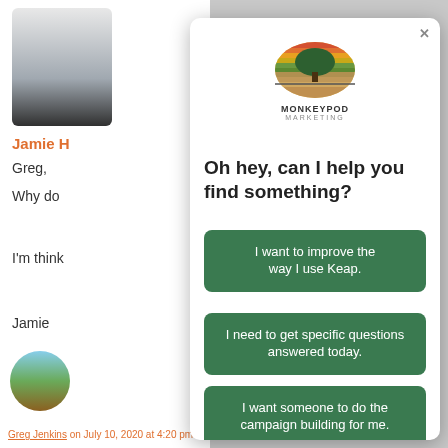[Figure (screenshot): Screenshot of a chat/email interface with Monkeypod Marketing modal overlay showing a chatbot popup with three green call-to-action buttons]
Jamie H
Greg,
Why do
I'm think
Jamie
[Figure (logo): Monkeypod Marketing logo with sunset and tree illustration]
Oh hey, can I help you find something?
I want to improve the way I use Keap.
I need to get specific questions answered today.
I want someone to do the campaign building for me.
Greg Jenkins on July 10, 2020 at 4:20 pm